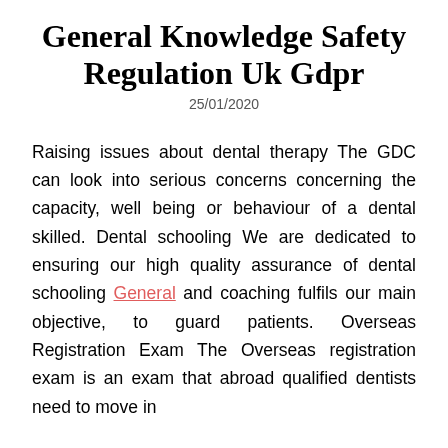General Knowledge Safety Regulation Uk Gdpr
25/01/2020
Raising issues about dental therapy The GDC can look into serious concerns concerning the capacity, well being or behaviour of a dental skilled. Dental schooling We are dedicated to ensuring our high quality assurance of dental schooling General and coaching fulfils our main objective, to guard patients. Overseas Registration Exam The Overseas registration exam is an exam that abroad qualified dentists need to move in